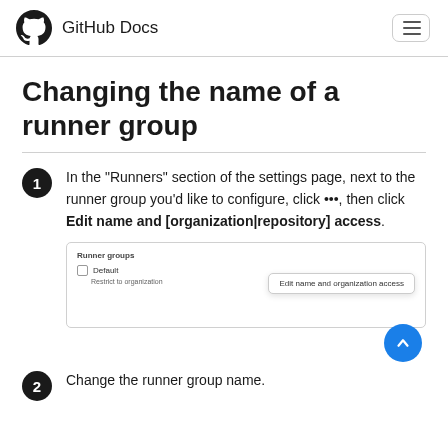GitHub Docs
Changing the name of a runner group
In the "Runners" section of the settings page, next to the runner group you'd like to configure, click •••, then click Edit name and [organization|repository] access.
[Figure (screenshot): Screenshot of the Runner groups section showing Default group with a dropdown menu containing 'Edit name and organization access']
Change the runner group name.